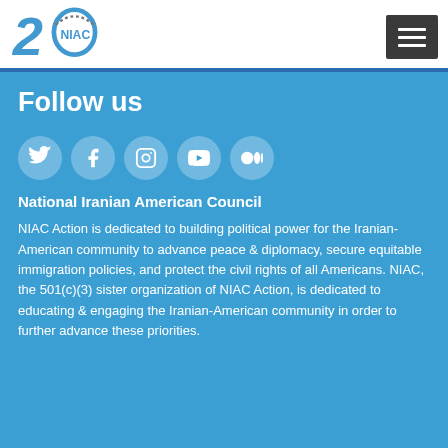[Figure (logo): NIAC 20th anniversary logo — stylized '20' with NIAC text in blue]
[Figure (other): Dark gray hamburger menu button with three white horizontal lines]
Follow us
[Figure (infographic): Row of five social media icons: Twitter, Facebook, Instagram, YouTube, Medium — white icons on semi-transparent circle backgrounds]
National Iranian American Council
NIAC Action is dedicated to building political power for the Iranian-American community to advance peace & diplomacy, secure equitable immigration policies, and protect the civil rights of all Americans. NIAC, the 501(c)(3) sister organization of NIAC Action, is dedicated to educating & engaging the Iranian-American community in order to further advance these priorities.